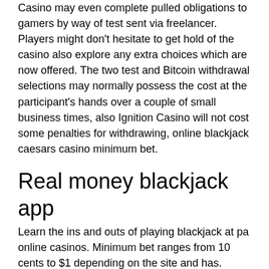Casino may even complete pulled obligations to gamers by way of test sent via freelancer. Players might don't hesitate to get hold of the casino also explore any extra choices which are now offered. The two test and Bitcoin withdrawal selections may normally possess the cost at the participant's hands over a couple of small business times, also Ignition Casino will not cost some penalties for withdrawing, online blackjack caesars casino minimum bet.
Real money blackjack app
Learn the ins and outs of playing blackjack at pa online casinos. Minimum bet ranges from 10 cents to $1 depending on the site and has. Offers; caesars sportsbook promo code; how to sign up; mobile app review; betting options; casino; faq. Caesars sportsbook is a fast-growing online brand. The casino has 6 tables of 0.5 blackjack, plus more than 50...